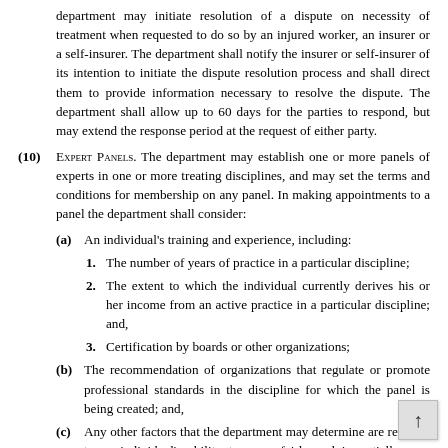department may initiate resolution of a dispute on necessity of treatment when requested to do so by an injured worker, an insurer or a self-insurer. The department shall notify the insurer or self-insurer of its intention to initiate the dispute resolution process and shall direct them to provide information necessary to resolve the dispute. The department shall allow up to 60 days for the parties to respond, but may extend the response period at the request of either party.
(10) EXPERT PANELS. The department may establish one or more panels of experts in one or more treating disciplines, and may set the terms and conditions for membership on any panel. In making appointments to a panel the department shall consider:
(a) An individual's training and experience, including:
1. The number of years of practice in a particular discipline;
2. The extent to which the individual currently derives his or her income from an active practice in a particular discipline; and,
3. Certification by boards or other organizations;
(b) The recommendation of organizations that regulate or promote professional standards in the discipline for which the panel is being created; and,
(c) Any other factors that the department may determine are relevant to an individual's ability to serve fairly and impartially as a member of an expert panel.